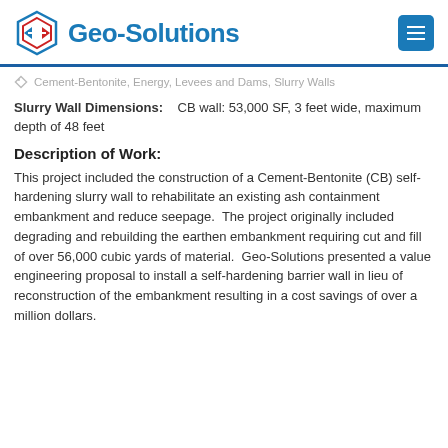Geo-Solutions
Cement-Bentonite, Energy, Levees and Dams, Slurry Walls
Slurry Wall Dimensions: CB wall: 53,000 SF, 3 feet wide, maximum depth of 48 feet
Description of Work:
This project included the construction of a Cement-Bentonite (CB) self-hardening slurry wall to rehabilitate an existing ash containment embankment and reduce seepage. The project originally included degrading and rebuilding the earthen embankment requiring cut and fill of over 56,000 cubic yards of material. Geo-Solutions presented a value engineering proposal to install a self-hardening barrier wall in lieu of reconstruction of the embankment resulting in a cost savings of over a million dollars.